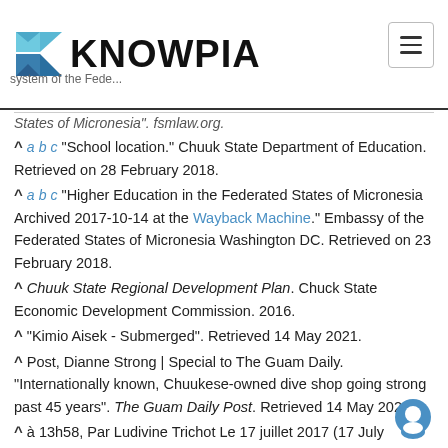KNOWPIA
States of Micronesia". fsmlaw.org.
^ a b c "School location." Chuuk State Department of Education. Retrieved on 28 February 2018.
^ a b c "Higher Education in the Federated States of Micronesia Archived 2017-10-14 at the Wayback Machine." Embassy of the Federated States of Micronesia Washington DC. Retrieved on 23 February 2018.
^ Chuuk State Regional Development Plan. Chuck State Economic Development Commission. 2016.
^ "Kimio Aisek - Submerged". Retrieved 14 May 2021.
^ Post, Dianne Strong | Special to The Guam Daily. "Internationally known, Chuukese-owned dive shop going strong past 45 years". The Guam Daily Post. Retrieved 14 May 2021.
^ à 13h58, Par Ludivine Trichot Le 17 juillet 2017 (17 July